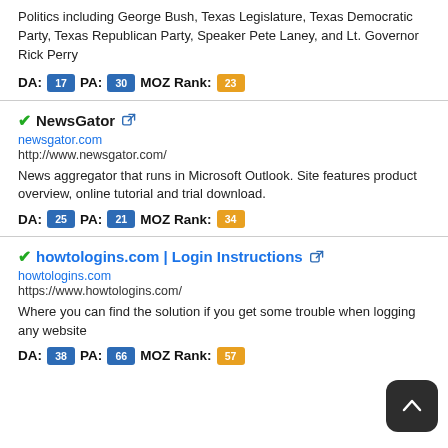Politics including George Bush, Texas Legislature, Texas Democratic Party, Texas Republican Party, Speaker Pete Laney, and Lt. Governor Rick Perry
DA: 17 PA: 30 MOZ Rank: 23
NewsGator
newsgator.com
http://www.newsgator.com/
News aggregator that runs in Microsoft Outlook. Site features product overview, online tutorial and trial download.
DA: 25 PA: 21 MOZ Rank: 34
howtologins.com | Login Instructions
howtologins.com
https://www.howtologins.com/
Where you can find the solution if you get some trouble when logging any website
DA: 38 PA: 66 MOZ Rank: 57